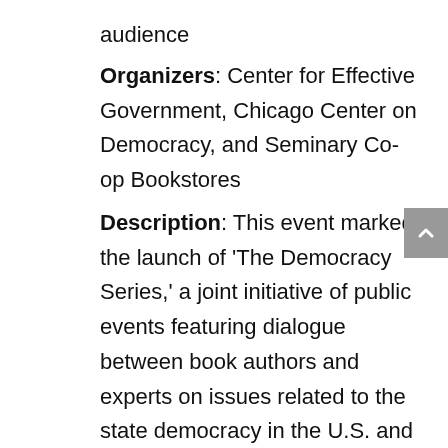audience
Organizers: Center for Effective Government, Chicago Center on Democracy, and Seminary Co-op Bookstores
Description: This event marked the launch of 'The Democracy Series,' a joint initiative of public events featuring dialogue between book authors and experts on issues related to the state democracy in the U.S. and abroad. David Stasavage, Dean of NYU Social Sciences, will discuss his book, “The Decline and Rise of Democracy: A Global History from Antiquity to Today.”
Watch the recording: Bureaucratic